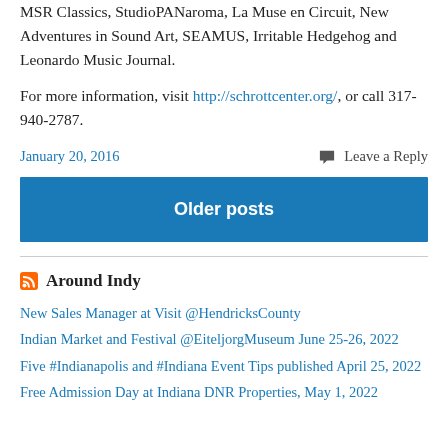MSR Classics, StudioPANaroma, La Muse en Circuit, New Adventures in Sound Art, SEAMUS, Irritable Hedgehog and Leonardo Music Journal.
For more information, visit http://schrottcenter.org/, or call 317-940-2787.
January 20, 2016
Leave a Reply
Older posts
Around Indy
New Sales Manager at Visit @HendricksCounty
Indian Market and Festival @EiteljorgMuseum June 25-26, 2022
Five #Indianapolis and #Indiana Event Tips published April 25, 2022
Free Admission Day at Indiana DNR Properties, May 1, 2022